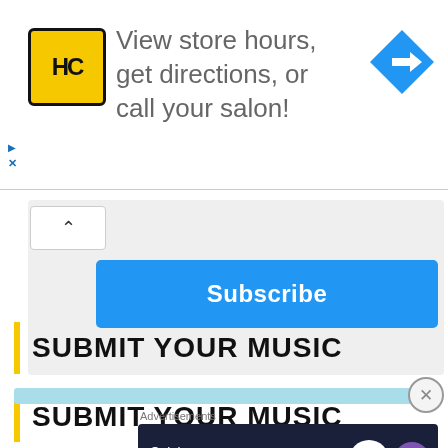[Figure (screenshot): Advertisement banner with HC logo on yellow background, text 'View store hours, get directions, or call your salon!' with a blue diamond navigation arrow icon on the right]
[Figure (screenshot): Subscribe panel with chevron/collapse button and a blue Subscribe button]
SUBMIT YOUR MUSIC
[Figure (screenshot): Light blue progress/loading bar with a close (X) button]
Advertisements
[Figure (screenshot): Advertisement banner with dark background reading 'Opinions. We all have them!' with WordPress and WooCommerce logos]